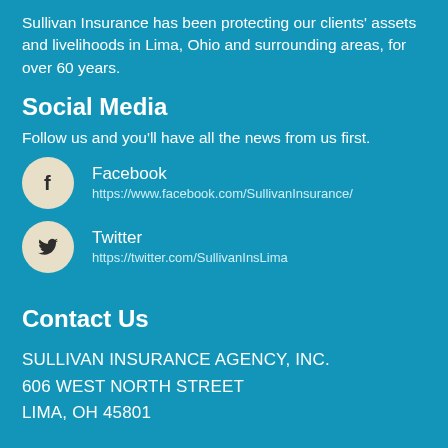Sullivan Insurance has been protecting our clients' assets and livelihoods in Lima, Ohio and surrounding areas, for over 60 years.
Social Media
Follow us and you'll have all the news from us first.
[Figure (logo): Facebook icon circle]
Facebook
https://www.facebook.com/SullivanInsurance/
[Figure (logo): Twitter icon circle]
Twitter
https://twitter.com/SullivanInsLima
Contact Us
SULLIVAN INSURANCE AGENCY, INC.
606 WEST NORTH STREET
LIMA, OH 45801